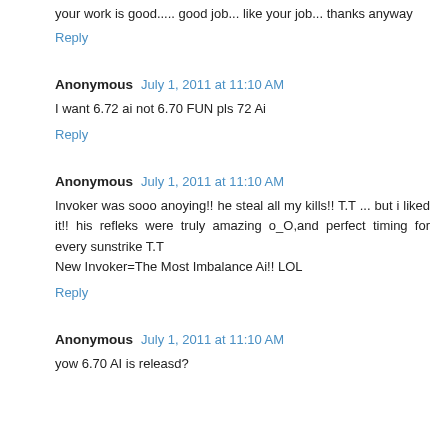your work is good..... good job... like your job... thanks anyway
Reply
Anonymous  July 1, 2011 at 11:10 AM
I want 6.72 ai not 6.70 FUN pls 72 Ai
Reply
Anonymous  July 1, 2011 at 11:10 AM
Invoker was sooo anoying!! he steal all my kills!! T.T ... but i liked it!! his refleks were truly amazing o_O,and perfect timing for every sunstrike T.T
New Invoker=The Most Imbalance Ai!! LOL
Reply
Anonymous  July 1, 2011 at 11:10 AM
yow 6.70 AI is releasd?